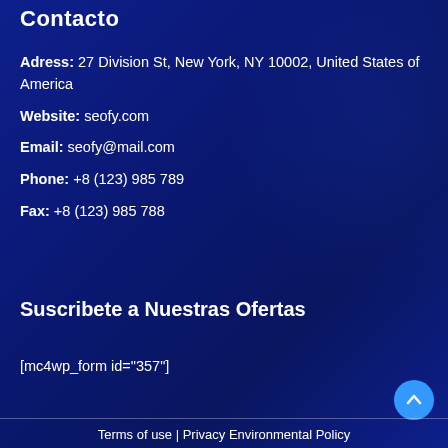Contacto
Adress: 27 Division St, New York, NY 10002, United States of America
Website: seofy.com
Email: seofy@mail.com
Phone: +8 (123) 985 789
Fax: +8 (123) 985 788
Suscribete a Nuestras Ofertas
[mc4wp_form id="357"]
Terms of use | Privacy Environmental Policy